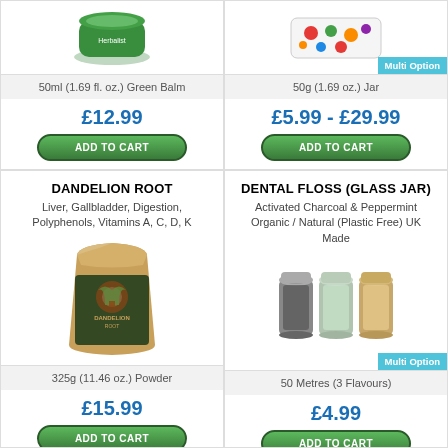50ml (1.69 fl. oz.) Green Balm
£12.99
ADD TO CART
50g (1.69 oz.) Jar
£5.99 - £29.99
ADD TO CART
DANDELION ROOT
Liver, Gallbladder, Digestion, Polyphenols, Vitamins A, C, D, K
[Figure (photo): Brown kraft paper pouch of Dandelion Root powder]
325g (11.46 oz.) Powder
£15.99
ADD TO CART
DENTAL FLOSS (GLASS JAR)
Activated Charcoal & Peppermint Organic / Natural (Plastic Free) UK Made
[Figure (photo): Three small glass jars of dental floss in different shades]
Multi Option
50 Metres (3 Flavours)
£4.99
ADD TO CART